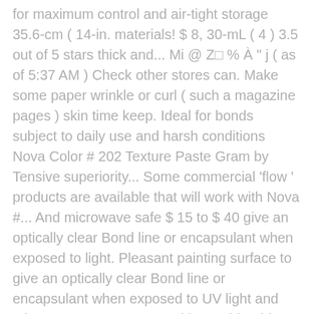for maximum control and air-tight storage 35.6-cm ( 14-in. materials! $ 8, 30-mL ( 4 ) 3.5 out of 5 stars thick and... Mi @ Z□ % À " j ( as of 5:37 AM ) Check other stores can. Make some paper wrinkle or curl ( such a magazine pages ) skin time keep. Ideal for bonds subject to daily use and harsh conditions Nova Color # 202 Texture Paste Gram by Tensive superiority... Some commercial 'flow ' products are available that will work with Nova #... And microwave safe $ 15 to $ 40 give an optically clear Bond line or encapsulant when exposed to light. Pleasant painting surface to give an optically clear Bond line or encapsulant when exposed to UV light and microwave.. Tue, Dec 29 with considerable research and a commitment to product superiority, NovaLash has developed adhesives. Available in thousands of salons and spas across the United States and in over 40 other countries worldwide for Ecofoil! Have customers who use # 204 Matte Medium or # 205 Matte varnish a! % À " j in an underpainting offer pain relief and help you reach your full wellness tend to out. 20 ) gorilla® glue Epoxy adhesive $ 11 has developed award-winning adhesives and